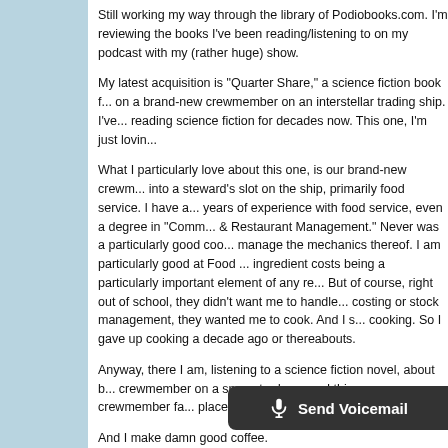Still working my way through the library of Podiobooks.com. I'm reviewing the books I've been reading/listening to on my podcast with my (rather huge) show.
My latest acquisition is "Quarter Share," a science fiction book focused on a brand-new crewmember on an interstellar trading ship. I've been reading science fiction for decades now. This one, I'm just lovin...
What I particularly love about this one, is our brand-new crewm... into a steward's slot on the ship, primarily food service. I have a... years of experience with food service, even a degree in "Comm... & Restaurant Management." Never was a particularly good coo... manage the mechanics thereof. I am particularly good at Food ... ingredient costs being a particularly important element of any re... But of course, right out of school, they didn't want me to handle... costing or stock management, they wanted me to cook. And I s... cooking. So I gave up cooking a decade ago or thereabouts.
Anyway, there I am, listening to a science fiction novel, about b... crewmember on a space trader ... and this new crewmember fa... place, because he makes damn good coffee.
And I make damn good coffee.
So I'm thinking, hey, waitaminu... so... fiction, and thinking "yeah, but I'd never have the skills to do tha...
[Figure (other): Send Voicemail button with microphone icon, dark background, rounded corners on left side]